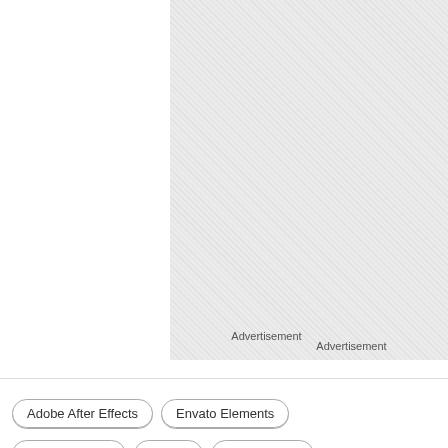[Figure (other): Advertisement placeholder box with crosshatch/diagonal pattern background]
Advertisement
Adobe After Effects
Envato Elements
Envato Market
Effects
Logo Reveal
Brushes